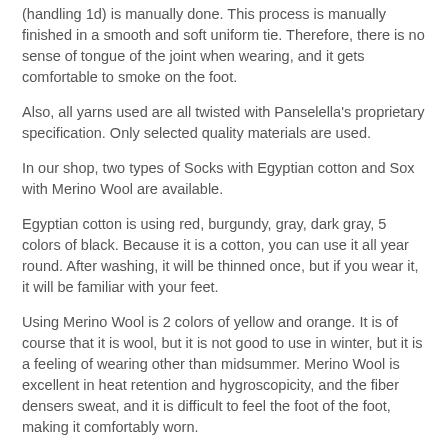(handling 1d) is manually done. This process is manually finished in a smooth and soft uniform tie. Therefore, there is no sense of tongue of the joint when wearing, and it gets comfortable to smoke on the foot.
Also, all yarns used are all twisted with Panselella's proprietary specification. Only selected quality materials are used.
In our shop, two types of Socks with Egyptian cotton and Sox with Merino Wool are available.
Egyptian cotton is using red, burgundy, gray, dark gray, 5 colors of black. Because it is a cotton, you can use it all year round. After washing, it will be thinned once, but if you wear it, it will be familiar with your feet.
Using Merino Wool is 2 colors of yellow and orange. It is of course that it is wool, but it is not good to use in winter, but it is a feeling of wearing other than midsummer. Merino Wool is excellent in heat retention and hygroscopicity, and the fiber densers sweat, and it is difficult to feel the foot of the foot, making it comfortably worn.